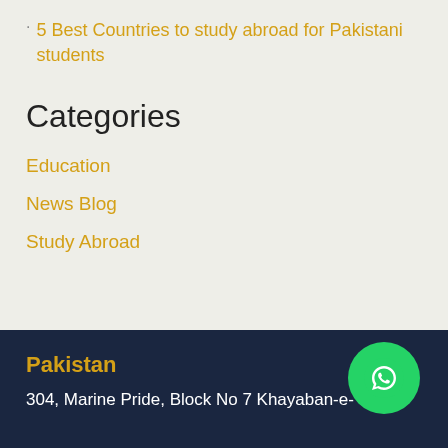5 Best Countries to study abroad for Pakistani students
Categories
Education
News Blog
Study Abroad
Pakistan
304, Marine Pride, Block No 7 Khayaban-e-